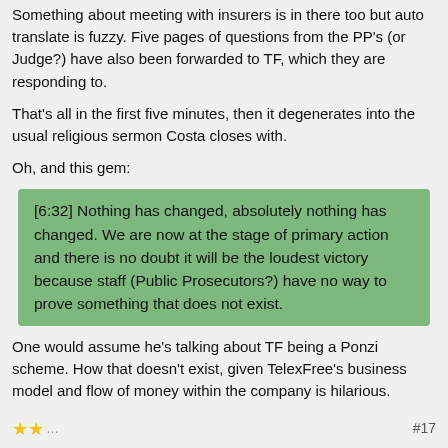Something about meeting with insurers is in there too but auto translate is fuzzy. Five pages of questions from the PP's (or Judge?) have also been forwarded to TF, which they are responding to.
That's all in the first five minutes, then it degenerates into the usual religious sermon Costa closes with.
Oh, and this gem:
[6:32] Nothing has changed, absolutely nothing has changed. We are now at the stage of primary action and there is no doubt it will be the loudest victory because staff (Public Prosecutors?) have no way to prove something that does not exist.
One would assume he's talking about TF being a Ponzi scheme. How that doesn't exist, given TelexFree's business model and flow of money within the company is hilarious.
Is that seriously all that it takes to convince the Brazilian TelexFree herd that there's nothing amiss? Unbelievable.
#17